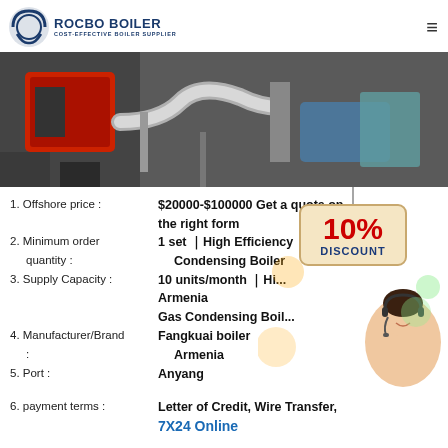[Figure (logo): Rocbo Boiler logo with circular icon and text]
[Figure (photo): Industrial boiler equipment with pipes and machinery]
1. Offshore price : $20000-$100000 Get a quote on the right form
2. Minimum order quantity : 1 set ｜High Efficiency Condensing Boiler
3. Supply Capacity : 10 units/month ｜Hi... Armenia Gas Condensing Boiler
4. Manufacturer/Brand : Fangkuai boiler Armenia
5. Port : Anyang
6. payment terms : Letter of Credit, Wire Transfer,
[Figure (infographic): 10% DISCOUNT promotional overlay sign]
[Figure (photo): Customer service agent with headset, 7X24 Online text]